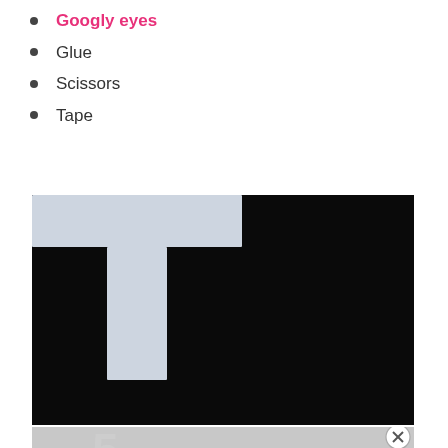Googly eyes
Glue
Scissors
Tape
[Figure (photo): Black background with a white/light-blue letter T shape cut from foam or paper, photographed against dark background]
[Figure (photo): Partial view of another image below, showing gray background with partial white letter shape visible, with an X close button on the right]